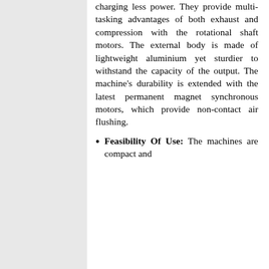charging less power. They provide multi-tasking advantages of both exhaust and compression with the rotational shaft motors. The external body is made of lightweight aluminium yet sturdier to withstand the capacity of the output. The machine's durability is extended with the latest permanent magnet synchronous motors, which provide non-contact air flushing.
Feasibility Of Use: The machines are compact and